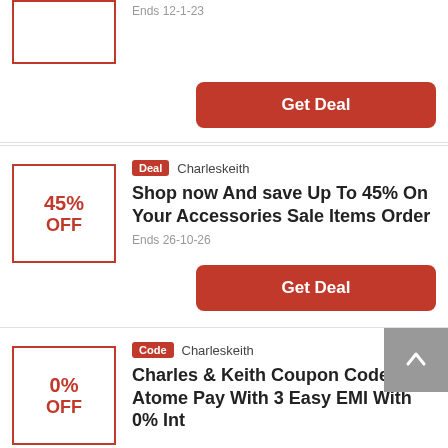Ends 12-1-23
Get Deal
45% OFF
Deal  Charleskeith
Shop now And save Up To 45% On Your Accessories Sale Items Order
Ends 26-10-26
Get Deal
0% OFF
Code  Charleskeith
Charles & Keith Coupon Code - Atome Pay With 3 Easy EMI With 0% Int